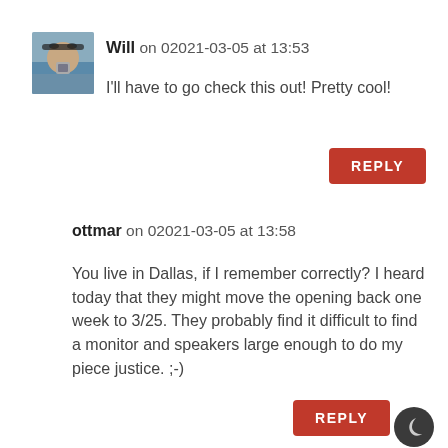[Figure (photo): Avatar photo of user Will — person with sunglasses holding a camera]
Will on 02021-03-05 at 13:53
I'll have to go check this out! Pretty cool!
REPLY
ottmar on 02021-03-05 at 13:58
You live in Dallas, if I remember correctly? I heard today that they might move the opening back one week to 3/25. They probably find it difficult to find a monitor and speakers large enough to do my piece justice. ;-)
REPLY